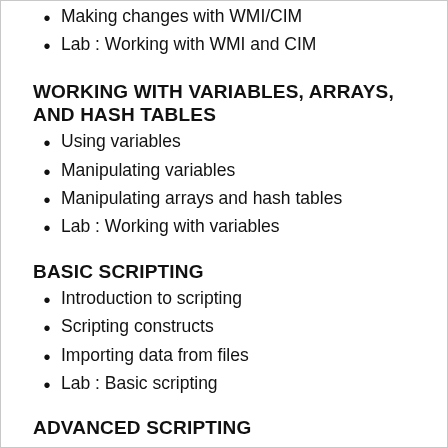Making changes with WMI/CIM
Lab : Working with WMI and CIM
WORKING WITH VARIABLES, ARRAYS, AND HASH TABLES
Using variables
Manipulating variables
Manipulating arrays and hash tables
Lab : Working with variables
BASIC SCRIPTING
Introduction to scripting
Scripting constructs
Importing data from files
Lab : Basic scripting
ADVANCED SCRIPTING
Accepting user input